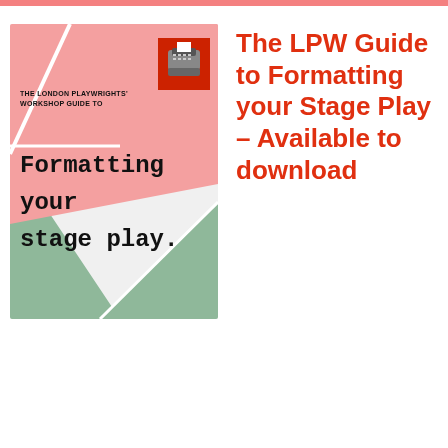[Figure (illustration): Book cover of 'The London Playwrights Workshop Guide to Formatting your stage play.' with pink and sage green geometric background and a red square containing a typewriter icon in the top right.]
The LPW Guide to Formatting your Stage Play – Available to download